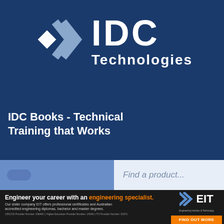[Figure (logo): IDC Technologies logo with chevron/arrow graphic and text 'IDC Technologies' on dark blue background]
IDC Books - Technical Training that Works
Find a product...
[Figure (infographic): EIT advertisement banner: 'Engineer your career with an engineering specialist.' with EIT logo and 'FIND OUT MORE' button. Text: Our sister company EIT offers professional certificates and Australian accredited engineering diplomas, bachelor and master degrees. CRICOS Provider Number: 03640C | Higher Education Provider Number: 14009 | ITO Provider Number: 51971]